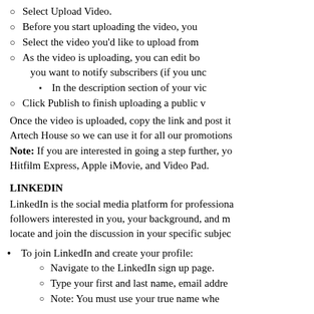Select Upload Video.
Before you start uploading the video, you
Select the video you'd like to upload from
As the video is uploading, you can edit bo you want to notify subscribers (if you unc
In the description section of your vic
Click Publish to finish uploading a public v
Once the video is uploaded, copy the link and post it Artech House so we can use it for all our promotions Note: If you are interested in going a step further, yo Hitfilm Express, Apple iMovie, and Video Pad.
LINKEDIN
LinkedIn is the social media platform for professiona followers interested in you, your background, and m locate and join the discussion in your specific subjec
To join LinkedIn and create your profile:
Navigate to the LinkedIn sign up page.
Type your first and last name, email addre
Note: You must use your true name whe